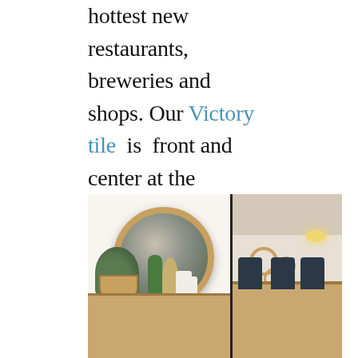hottest new restaurants, breweries and shops. Our Victory tile is front and center at the residence. This popular tile comes in 8 different colorways for every design proclivity!
[Figure (photo): Interior design photo showing two panels: left panel with a round gold-framed mirror on a white wall, plants in baskets, a wooden console table with vases and dried pampas grass; right panel showing a modern bar/dining area with dark blue bar stools, wall-mounted decorative plates, and warm wood accents.]